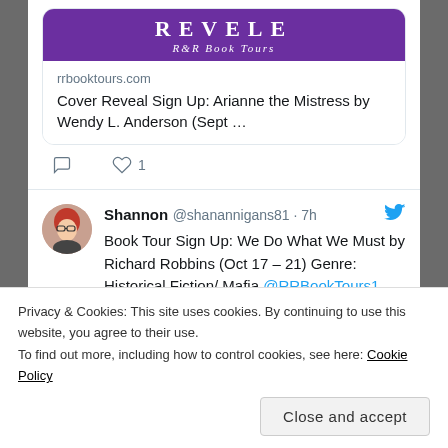[Figure (screenshot): R&R Book Tours cover reveal banner — purple background with white text]
rrbooktours.com
Cover Reveal Sign Up: Arianne the Mistress by Wendy L. Anderson (Sept …
[Figure (infographic): Comment and like icons with count: 1 like]
[Figure (photo): Profile photo of Shannon — woman with red hair and glasses]
Shannon @shanannigans81 · 7h
Book Tour Sign Up: We Do What We Must by Richard Robbins (Oct 17 – 21) Genre: Historical Fiction/ Mafia @RRBookTours1 #RRBookTours rrbooktours.com/2022/08/31/boo…
Privacy & Cookies: This site uses cookies. By continuing to use this website, you agree to their use.
To find out more, including how to control cookies, see here: Cookie Policy
Close and accept